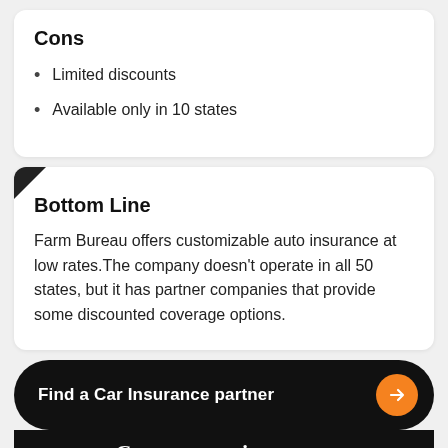Cons
Limited discounts
Available only in 10 states
Bottom Line
Farm Bureau offers customizable auto insurance at low rates.The company doesn't operate in all 50 states, but it has partner companies that provide some discounted coverage options.
Find a Car Insurance partner
Compare car insurance